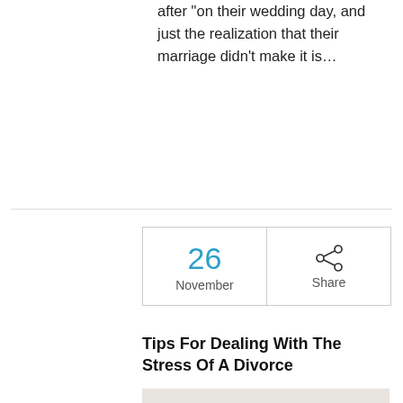after on their wedding day, and just the realization that their marriage didn't make it is...
| 26
November | Share |
Tips For Dealing With The Stress Of A Divorce
Posted by Grant Gisondo in Board Certified Lawyer, Family Law, Legal Advice, Mediation
[Figure (photo): Person with hand on head, appearing stressed, partial view]